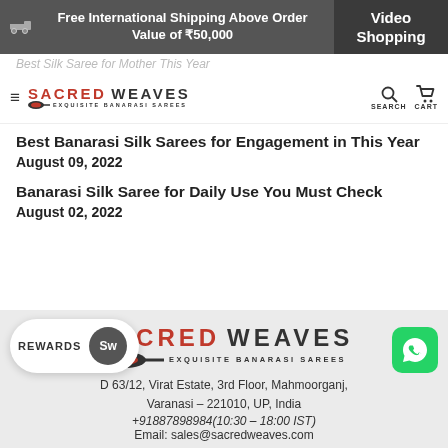Free International Shipping Above Order Value of ₹50,000 | Video Shopping
SACRED WEAVES EXQUISITE BANARASI SAREES | SEARCH | CART
Best Silk Saree for Mother This Year
Best Banarasi Silk Sarees for Engagement in This Year
August 09, 2022
Banarasi Silk Saree for Daily Use You Must Check
August 02, 2022
[Figure (logo): Sacred Weaves logo with saree icon and text EXQUISITE BANARASI SAREES in footer]
D 63/12, Virat Estate, 3rd Floor, Mahmoorganj, Varanasi – 221010, UP, India
+91887898984(10:30 – 18:00 IST)
Email: sales@sacredweaves.com